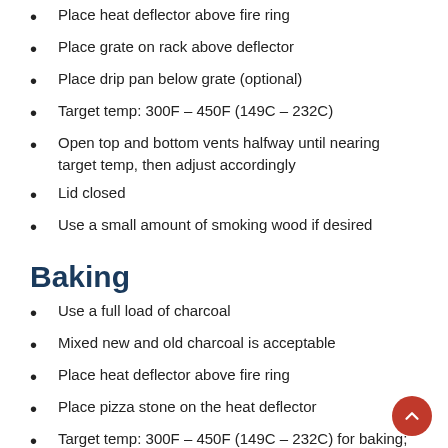Place heat deflector above fire ring
Place grate on rack above deflector
Place drip pan below grate (optional)
Target temp: 300F – 450F (149C – 232C)
Open top and bottom vents halfway until nearing target temp, then adjust accordingly
Lid closed
Use a small amount of smoking wood if desired
Baking
Use a full load of charcoal
Mixed new and old charcoal is acceptable
Place heat deflector above fire ring
Place pizza stone on the heat deflector
Target temp: 300F – 450F (149C – 232C) for baking; 500F+ (260C+) for pizza